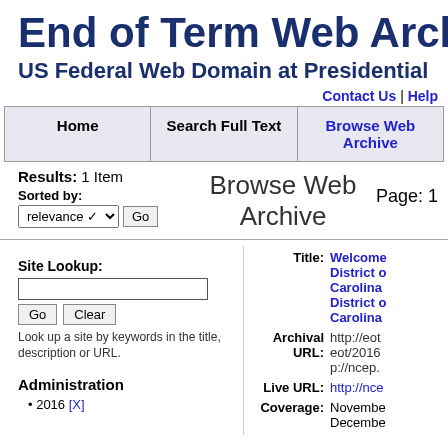End of Term Web Archive
US Federal Web Domain at Presidential
Contact Us | Help
| Home | Search Full Text | Browse Web Archive |
| --- | --- | --- |
|  |
Results: 1 Item
Browse Web Archive
Page: 1
Sorted by: relevance Go
Site Lookup:
Go  Clear
Look up a site by keywords in the title, description or URL.
Administration
2016 [X]
Title: Welcome District of Carolina... District of Carolina...
Archival URL: http://eot/2016 eot/2016... p://ncep...
Live URL: http://nce...
Coverage: November... December...